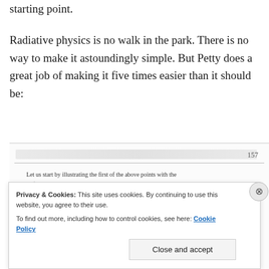starting point.
Radiative physics is no walk in the park. There is no way to make it astoundingly simple. But Petty does a great job of making it five times easier than it should be:
[Figure (screenshot): Screenshot of a book page showing page number 157 and text beginning 'Let us start by illustrating the first of the above points with the help of a classic classroom demonstration, in which the instructor...' partially obscured by a cookie consent banner.]
Privacy & Cookies: This site uses cookies. By continuing to use this website, you agree to their use.
To find out more, including how to control cookies, see here: Cookie Policy
Close and accept